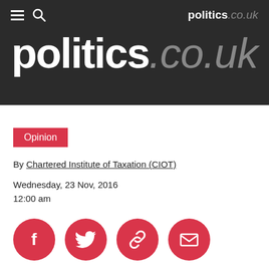politics.co.uk
[Figure (logo): politics.co.uk large logo on dark background]
Opinion
By Chartered Institute of Taxation (CIOT)
Wednesday, 23 Nov, 2016
12:00 am
[Figure (infographic): Social sharing icons: Facebook, Twitter, Link, Email — red circles with white icons]